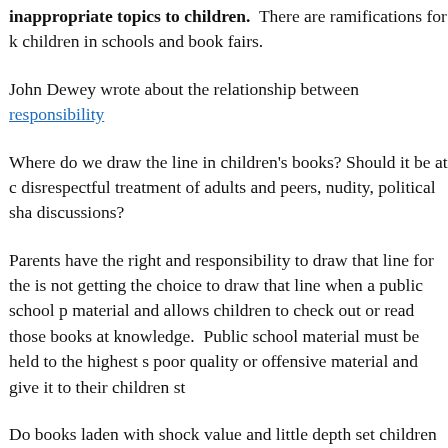inappropriate topics to children. There are ramifications for keeping children in schools and book fairs.
John Dewey wrote about the relationship between responsibility
Where do we draw the line in children's books? Should it be at disrespectful treatment of adults and peers, nudity, political shar discussions?
Parents have the right and responsibility to draw that line for the is not getting the choice to draw that line when a public school p material and allows children to check out or read those books at knowledge. Public school material must be held to the highest s poor quality or offensive material and give it to their children st
Do books laden with shock value and little depth set children up college; when students are not consistently encouraged to devel relationships from a young age? Development does not occur o they are assigned Dostoyevsky in high school after ten years of